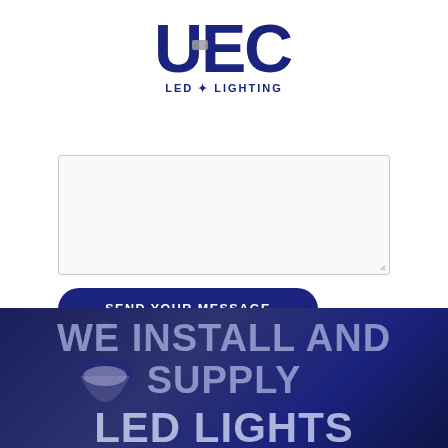[Figure (logo): UEC LED Lighting logo — stylized letters U E C in dark navy blue with 'LED LIGHTING' text below]
[Figure (screenshot): A text area input box (form field) with a resize handle in the bottom right corner]
SEND YOUR MESSAGE
[Figure (photo): Dark blue-tinted background image showing a room with hanging pendant lamp and wall panels, overlaid with large semi-transparent text reading WE INSTALL AND SUPPLY LED LIGHTS]